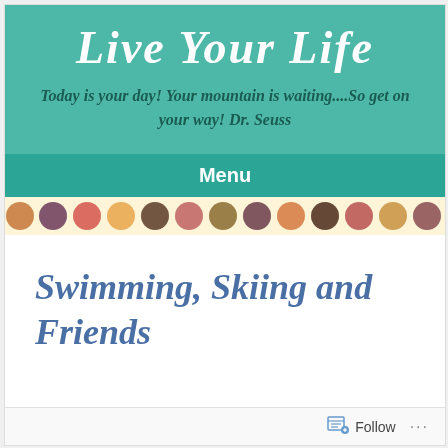Live Your Life
Today is your day! Your mountain is waiting....So get on your way! Dr. Seuss
Menu
[Figure (illustration): Decorative polka dot band with colorful circles on a cream/yellow background]
Swimming, Skiing and Friends
Follow ...